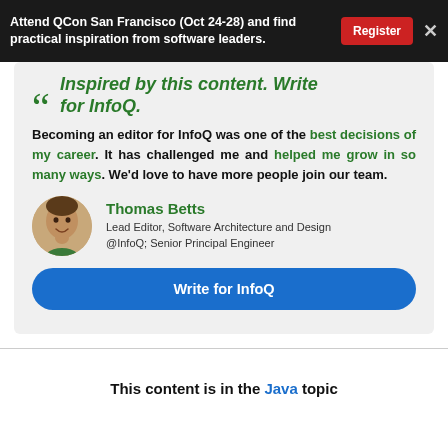Attend QCon San Francisco (Oct 24-28) and find practical inspiration from software leaders.
Inspired by this content. Write for InfoQ.
Becoming an editor for InfoQ was one of the best decisions of my career. It has challenged me and helped me grow in so many ways. We'd love to have more people join our team.
Thomas Betts
Lead Editor, Software Architecture and Design @InfoQ; Senior Principal Engineer
Write for InfoQ
This content is in the Java topic